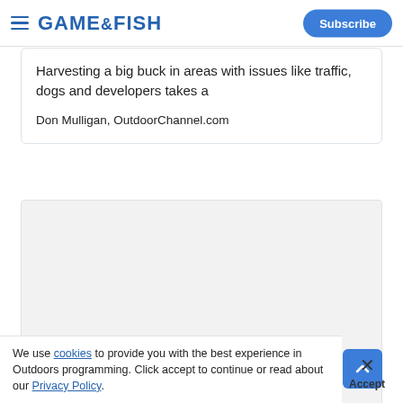GAME&FISH | Subscribe
Harvesting a big buck in areas with issues like traffic, dogs and developers takes a
Don Mulligan, OutdoorChannel.com
[Figure (other): Advertisement placeholder area with grey background and 'Advertisement' label]
We use cookies to provide you with the best experience in Outdoors programming. Click accept to continue or read about our Privacy Policy.